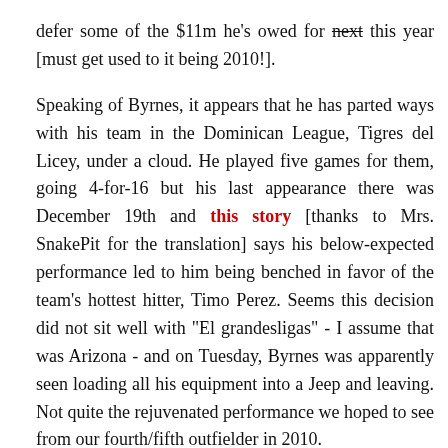defer some of the $11m he's owed for next [strikethrough] this year [must get used to it being 2010!].
Speaking of Byrnes, it appears that he has parted ways with his team in the Dominican League, Tigres del Licey, under a cloud. He played five games for them, going 4-for-16 but his last appearance there was December 19th and this story [thanks to Mrs. SnakePit for the translation] says his below-expected performance led to him being benched in favor of the team's hottest hitter, Timo Perez. Seems this decision did not sit well with "El grandesligas" - I assume that was Arizona - and on Tuesday, Byrnes was apparently seen loading all his equipment into a Jeep and leaving. Not quite the rejuvenated performance we hoped to see from our fourth/fifth outfielder in 2010.